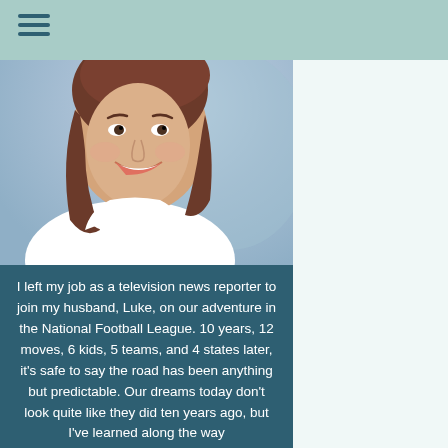[Figure (photo): Smiling woman with brown hair wearing a white top, professional headshot with light blue background]
I left my job as a television news reporter to join my husband, Luke, on our adventure in the National Football League. 10 years, 12 moves, 6 kids, 5 teams, and 4 states later, it's safe to say the road has been anything but predictable. Our dreams today don't look quite like they did ten years ago, but I've learned along the way